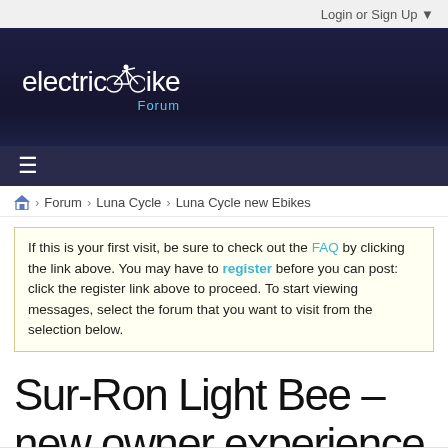Login or Sign Up ▼
[Figure (logo): Electric Bike Forum logo — stylized text 'electricbike' with a cyclist icon, and 'Forum' in teal below]
≡
🏠 > Forum > Luna Cycle > Luna Cycle new Ebikes
If this is your first visit, be sure to check out the FAQ by clicking the link above. You may have to register before you can post: click the register link above to proceed. To start viewing messages, select the forum that you want to visit from the selection below.
Sur-Ron Light Bee – new owner experience